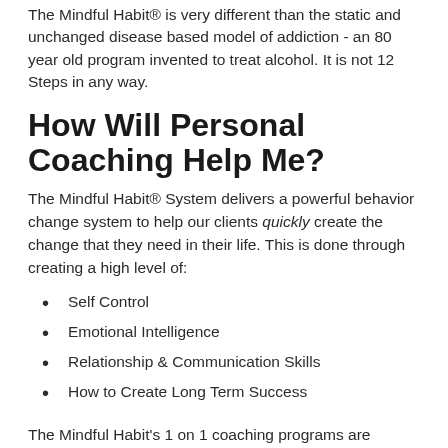The Mindful Habit® is very different than the static and unchanged disease based model of addiction - an 80 year old program invented to treat alcohol. It is not 12 Steps in any way.
How Will Personal Coaching Help Me?
The Mindful Habit® System delivers a powerful behavior change system to help our clients quickly create the change that they need in their life. This is done through creating a high level of:
Self Control
Emotional Intelligence
Relationship & Communication Skills
How to Create Long Term Success
The Mindful Habit's 1 on 1 coaching programs are powerful and